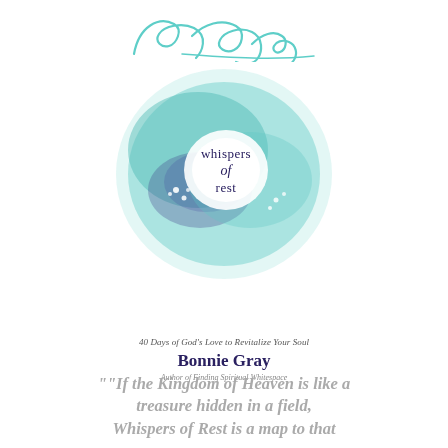[Figure (illustration): Cursive signature of Bonnie Gray in teal/turquoise ink at the top of the page]
[Figure (illustration): Book cover of 'Whispers of Rest' by Bonnie Gray. Features a circular watercolor painting in shades of teal and blue with a white center glowing area. The title 'whispers of rest' is written in the center white area in dark navy text with 'of' in italic script. Small white flowers scatter around. Below the circle: subtitle '40 Days of God's Love to Revitalize Your Soul', author name 'Bonnie Gray', and tagline 'Author of Finding Spiritual Whitespace'.]
"If the Kingdom of Heaven is like a treasure hidden in a field, Whispers of Rest is a map to that